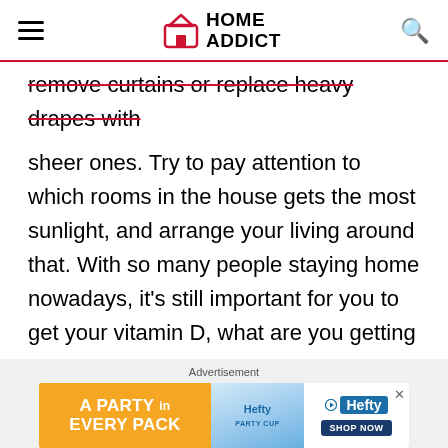HOME ADDICT
remove curtains or replace heavy drapes with sheer ones. Try to pay attention to which rooms in the house gets the most sunlight, and arrange your living around that. With so many people staying home nowadays, it's still important for you to get your vitamin D, what are you getting it through the window or by going outside in your own backyard.
Advertisement
[Figure (other): Hefty brand advertisement banner with orange background showing 'A PARTY in EVERY PACK' text, product image of cups, Hefty logo and SHOP NOW button]